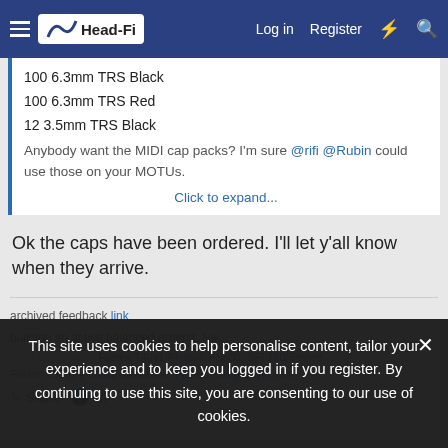Head-Fi | Log in | Register
100 6.3mm TRS Black
100 6.3mm TRS Red
12 3.5mm TRS Black
Anybody want the MIDI cap packs? I'm sure @rifi @Rubin could use those on your MOTUs.
Click to expand...
Ok the caps have been ordered. I'll let y'all know when they arrive.
archived feedback link
building an active balanced ground: link
ortho transplants: Fostex T40v1/Phiaton PS500, SFI 120/Sextett, Fostex T50rp/V-Moda Crossfade, Fostex T50rp/Beyer COP
Share | rifi
This site uses cookies to help personalise content, tailor your experience and to keep you logged in if you register. By continuing to use this site, you are consenting to our use of cookies.